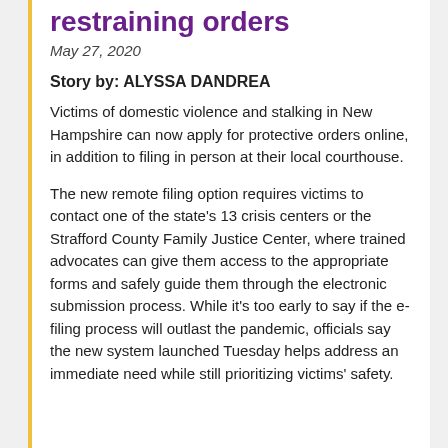restraining orders
May 27, 2020
Story by: ALYSSA DANDREA
Victims of domestic violence and stalking in New Hampshire can now apply for protective orders online, in addition to filing in person at their local courthouse.
The new remote filing option requires victims to contact one of the state's 13 crisis centers or the Strafford County Family Justice Center, where trained advocates can give them access to the appropriate forms and safely guide them through the electronic submission process. While it's too early to say if the e-filing process will outlast the pandemic, officials say the new system launched Tuesday helps address an immediate need while still prioritizing victims' safety.